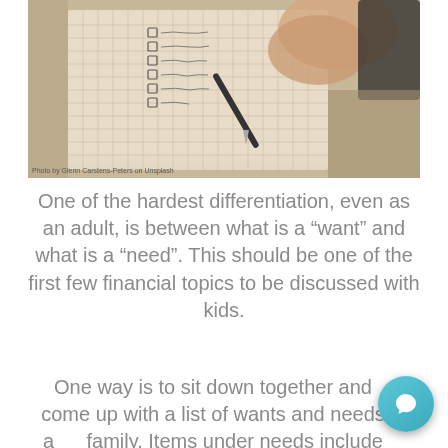[Figure (photo): A hand holding a pen writing on a grid-paper checklist notebook with small checkboxes, warm vintage-toned photo]
Photo by Glenn Carstens-Peters on Unsplash
One of the hardest differentiation, even as an adult, is between what is a “want” and what is a “need”. This should be one of the first few financial topics to be discussed with kids.
One way is to sit down together and come up with a list of wants and needs as a family. Items under needs include basics,